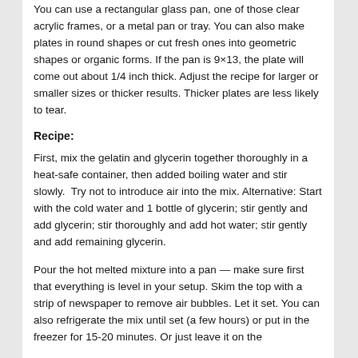You can use a rectangular glass pan, one of those clear acrylic frames, or a metal pan or tray. You can also make plates in round shapes or cut fresh ones into geometric shapes or organic forms. If the pan is 9×13, the plate will come out about 1/4 inch thick. Adjust the recipe for larger or smaller sizes or thicker results. Thicker plates are less likely to tear.
Recipe:
First, mix the gelatin and glycerin together thoroughly in a heat-safe container, then added boiling water and stir slowly.  Try not to introduce air into the mix. Alternative: Start with the cold water and 1 bottle of glycerin; stir gently and add glycerin; stir thoroughly and add hot water; stir gently and add remaining glycerin.
Pour the hot melted mixture into a pan — make sure first that everything is level in your setup. Skim the top with a strip of newspaper to remove air bubbles. Let it set. You can also refrigerate the mix until set (a few hours) or put in the freezer for 15-20 minutes. Or just leave it on the